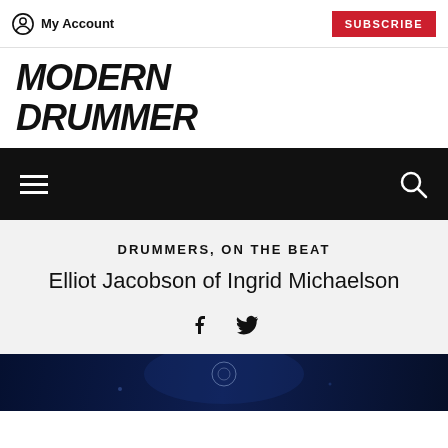My Account | SUBSCRIBE
[Figure (logo): Modern Drummer magazine logo in bold italic black text]
DRUMMERS, ON THE BEAT
Elliot Jacobson of Ingrid Michaelson
[Figure (illustration): Dark blue photo strip at bottom of page showing a drummer on stage]
[Figure (infographic): Navigation bar with hamburger menu icon and search icon on black background]